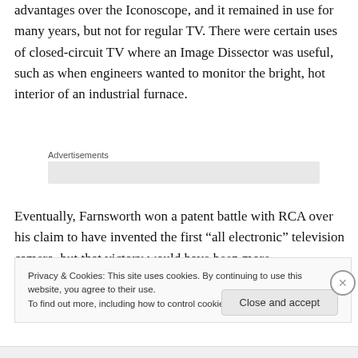advantages over the Iconoscope, and it remained in use for many years, but not for regular TV. There were certain uses of closed-circuit TV where an Image Dissector was useful, such as when engineers wanted to monitor the bright, hot interior of an industrial furnace.
Advertisements
Eventually, Farnsworth won a patent battle with RCA over his claim to have invented the first “all electronic” television camera, but that victory would have been more
Privacy & Cookies: This site uses cookies. By continuing to use this website, you agree to their use.
To find out more, including how to control cookies, see here: Cookie Policy
Close and accept